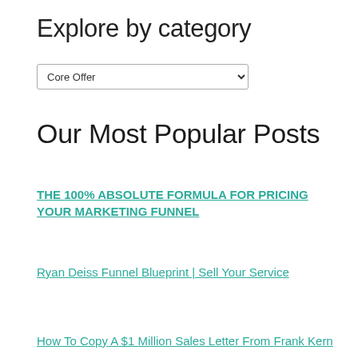Explore by category
[Figure (screenshot): Dropdown select box with 'Core Offer' selected]
Our Most Popular Posts
THE 100% ABSOLUTE FORMULA FOR PRICING YOUR MARKETING FUNNEL
Ryan Deiss Funnel Blueprint | Sell Your Service
How To Copy A $1 Million Sales Letter From Frank Kern